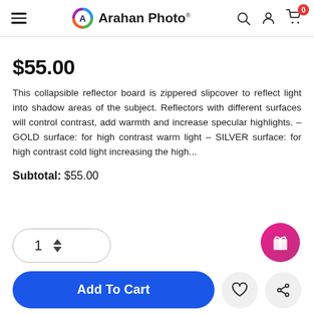Arahan Photo
$55.00
This collapsible reflector board is zippered slipcover to reflect light into shadow areas of the subject. Reflectors with different surfaces will control contrast, add warmth and increase specular highlights. - GOLD surface: for high contrast warm light - SILVER surface: for high contrast cold light increasing the high...
Subtotal: $55.00
[Figure (screenshot): Quantity selector showing 1 with up/down arrows, and a pink gift button on the right]
[Figure (screenshot): Add To Cart blue button with heart and share icon circles]